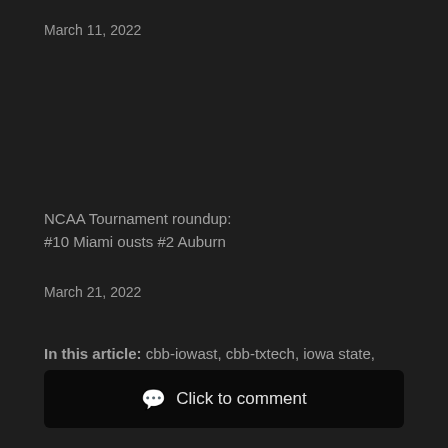March 11, 2022
NCAA Tournament roundup:
#10 Miami ousts #2 Auburn
March 21, 2022
In this article: cbb-iowast, cbb-txtech, iowa state, ncaab, texas tech
Click to comment